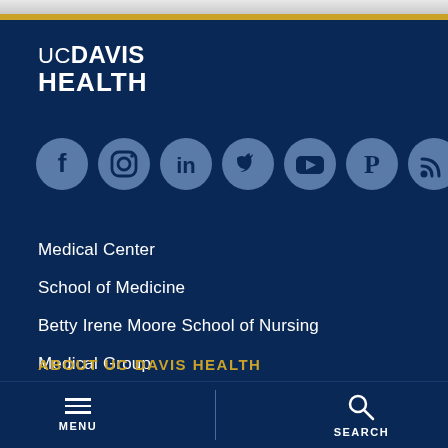[Figure (logo): UC Davis Health logo — white text on dark navy background, 'UC' and 'DAVIS' on first line, 'HEALTH' on second line]
[Figure (infographic): Row of 7 social media icon circles: Facebook, Instagram, LinkedIn, Twitter, YouTube, Pinterest, RSS feed — all in muted blue-grey circles]
Medical Center
School of Medicine
Betty Irene Moore School of Nursing
Medical Group
ABOUT UC DAVIS HEALTH
MENU   SEARCH